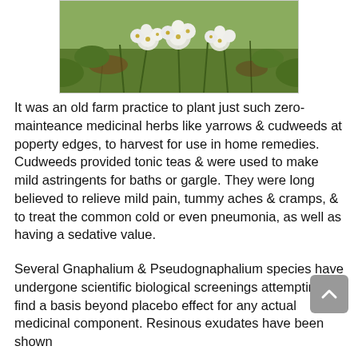[Figure (photo): A photograph of white yarrow/cudweed flowers with green stems and foliage, taken outdoors.]
It was an old farm practice to plant just such zero-mainteance medicinal herbs like yarrows & cudweeds at poperty edges, to harvest for use in home remedies. Cudweeds provided tonic teas & were used to make mild astringents for baths or gargle. They were long believed to relieve mild pain, tummy aches & cramps, & to treat the common cold or even pneumonia, as well as having a sedative value.
Several Gnaphalium & Pseudognaphalium species have undergone scientific biological screenings attempting to find a basis beyond placebo effect for any actual medicinal component. Resinous exudates have been shown